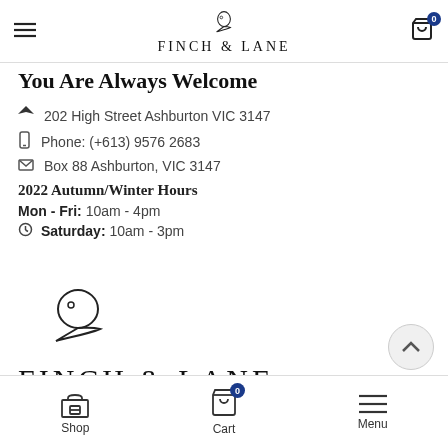FINCH & LANE
You Are Always Welcome
202 High Street Ashburton VIC 3147
Phone: (+613) 9576 2683
Box 88 Ashburton, VIC 3147
2022 Autumn/Winter Hours
Mon - Fri: 10am - 4pm
Saturday: 10am - 3pm
[Figure (logo): Finch & Lane bird logo with text FINCH & LANE]
Shop  Cart  Menu